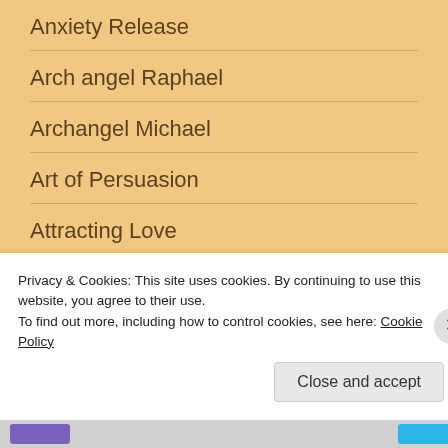Anxiety Release
Arch angel Raphael
Archangel Michael
Art of Persuasion
Attracting Love
Aura
Privacy & Cookies: This site uses cookies. By continuing to use this website, you agree to their use.
To find out more, including how to control cookies, see here: Cookie Policy
Close and accept